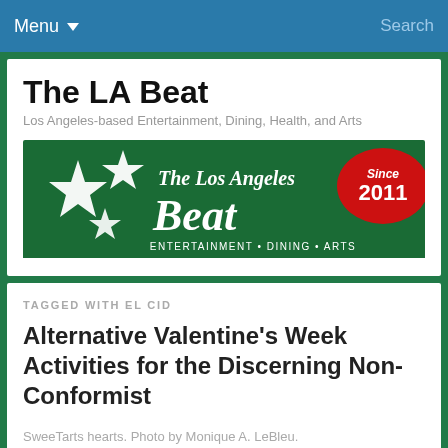Menu  Search
The LA Beat
Los Angeles-based Entertainment, Dining, Health, and Arts
[Figure (logo): The Los Angeles Beat logo — dark green banner with white script text 'The Los Angeles Beat', white star graphics, red semicircle badge reading 'Since 2011', and text 'ENTERTAINMENT • DINING • ARTS']
TAGGED WITH EL CID
Alternative Valentine's Week Activities for the Discerning Non-Conformist
SweeTarts hearts. Photo by Monique A. LeBleu.
With contributions by Elise Thompson.